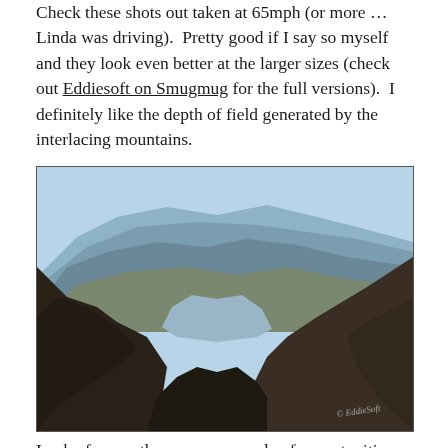Check these shots out taken at 65mph (or more ... Linda was driving).  Pretty good if I say so myself and they look even better at the larger sizes (check out Eddiesoft on Smugmug for the full versions).  I definitely like the depth of field generated by the interlacing mountains.
[Figure (photo): Photograph of layered desert canyon mountains with dark rocky cliffs in the foreground and lighter blue-grey mountains in the background under a pale blue sky. A watermark reading '© EddieSoft' appears in the lower right corner.]
Lucky for me, there were a couple of opportunities